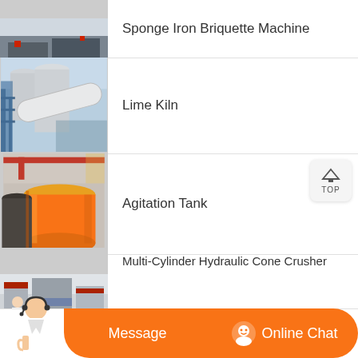[Figure (photo): Industrial machine - Sponge Iron Briquette Machine, partial view of heavy equipment]
Sponge Iron Briquette Machine
[Figure (photo): Large cylindrical lime kiln at industrial facility with silos and scaffolding]
Lime Kiln
[Figure (photo): Industrial agitation tank, large orange cylindrical vessel in factory]
Agitation Tank
[Figure (photo): Multi-Cylinder Hydraulic Cone Crusher machinery in factory setting]
Multi-Cylinder Hydraulic Cone Crusher
Message
Online Chat